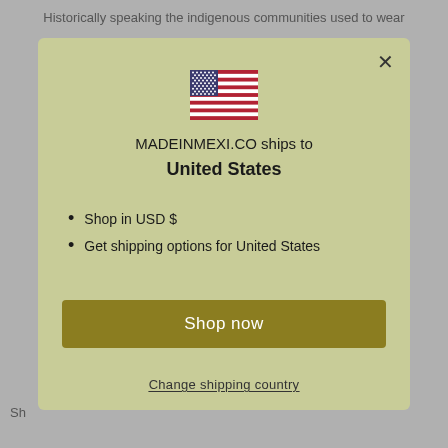Historically speaking the indigenous communities used to wear
[Figure (illustration): US flag icon displayed at the top center of the modal popup]
MADEINMEXI.CO ships to
United States
Shop in USD $
Get shipping options for United States
Shop now
Change shipping country
Sh